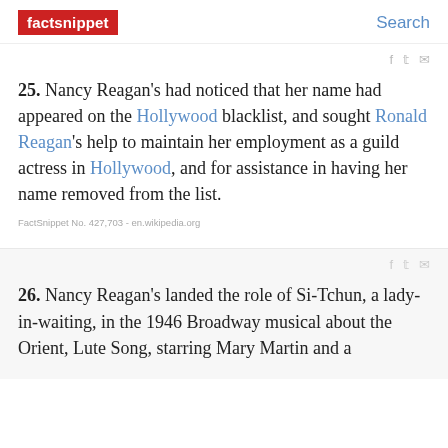factsnippet | Search
25. Nancy Reagan's had noticed that her name had appeared on the Hollywood blacklist, and sought Ronald Reagan's help to maintain her employment as a guild actress in Hollywood, and for assistance in having her name removed from the list.
FactSnippet No. 427,703 - en.wikipedia.org
26. Nancy Reagan's landed the role of Si-Tchun, a lady-in-waiting, in the 1946 Broadway musical about the Orient, Lute Song, starring Mary Martin and a